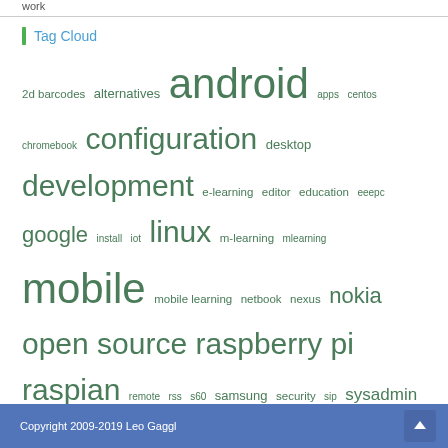work
Tag Cloud
2d barcodes alternatives android apps centos chromebook configuration desktop development e-learning editor education eeepc google install iot linux m-learning mlearning mobile mobile learning netbook nexus nokia open source raspberry pi raspian remote rss s60 samsung security sip sysadmin tagging telework text toshiba ttn twitter ubuntu utilities video voip wireless
Copyright 2009-2019 Leo Gaggl